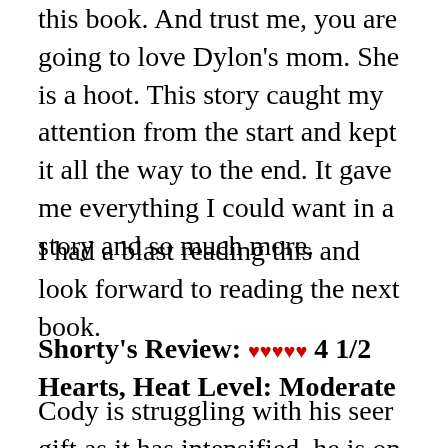this book. And trust me, you are going to love Dylon's mom. She is a hoot. This story caught my attention from the start and kept it all the way to the end. It gave me everything I could want in a story and so much more.
I had a blast reading this and look forward to reading the next book.
Shorty's Review: ♥♥♥♥♥ 4 1/2 Hearts, Heat Level: Moderate
Cody is struggling with his seer gift as it has intensified. he is on the verge of giving up. Ex enforcer Dylon is badly beaten and on the verge of death when he comes to